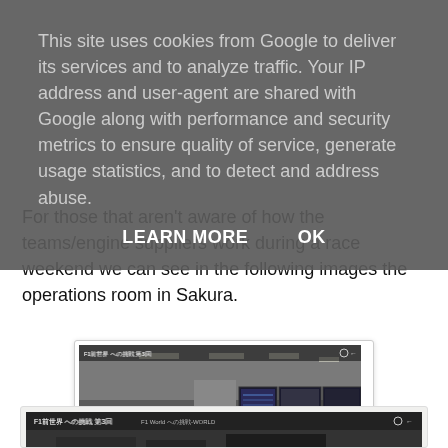This site uses cookies from Google to deliver its services and to analyze traffic. Your IP address and user-agent are shared with Google along with performance and security metrics to ensure quality of service, generate usage statistics, and to detect and address abuse.
LEARN MORE   OK
For those that aren't aware of how the teams/engine suppliers work during a race weekend we can see in the following images the operations room in Sakura.
[Figure (screenshot): Video thumbnail showing an operations room (Mission Room) in Sakura with multiple large screens on the wall and workstations, with Japanese text overlay at bottom left reading ミッションルーム and video player controls at the bottom.]
[Figure (screenshot): Second video thumbnail partially visible at the bottom of the page, showing another view related to F1 operations, with Japanese text header and video controls.]